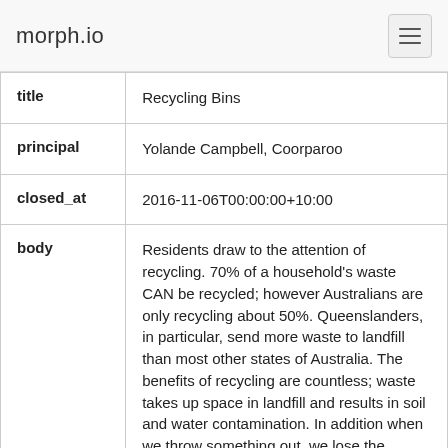morph.io
| title | Recycling Bins |
| principal | Yolande Campbell, Coorparoo |
| closed_at | 2016-11-06T00:00:00+10:00 |
| body | Residents draw to the attention of recycling. 70% of a household's waste CAN be recycled; however Australians are only recycling about 50%. Queenslanders, in particular, send more waste to landfill than most other states of Australia. The benefits of recycling are countless; waste takes up space in landfill and results in soil and water contamination. In addition when we throw something out, we lose the natural resources, energy and time it took to make that product and these resources cannot go on indefinitely. Making products from recycled materials can consume up to 95% less energy and water. The biggest issue a resident fo |